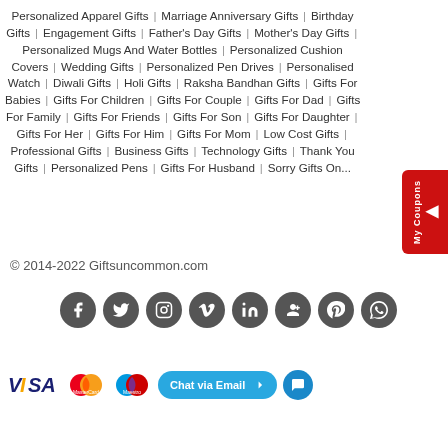Personalized Apparel Gifts | Marriage Anniversary Gifts | Birthday Gifts | Engagement Gifts | Father's Day Gifts | Mother's Day Gifts | Personalized Mugs And Water Bottles | Personalized Cushion Covers | Wedding Gifts | Personalized Pen Drives | Personalised Watch | Diwali Gifts | Holi Gifts | Raksha Bandhan Gifts | Gifts For Babies | Gifts For Children | Gifts For Couple | Gifts For Dad | Gifts For Family | Gifts For Friends | Gifts For Son | Gifts For Daughter | Gifts For Her | Gifts For Him | Gifts For Mom | Low Cost Gifts | Professional Gifts | Business Gifts | Technology Gifts | Thank You Gifts | Personalized Pens | Gifts For Husband | Sorry Gifts On...
© 2014-2022 Giftsuncommon.com
[Figure (infographic): Row of 8 social media circular icons: Facebook, Twitter, Instagram, Vimeo, LinkedIn, Google+, Pinterest, WhatsApp]
[Figure (infographic): Payment logos: VISA, MasterCard, Maestro, and a Chat via Email button]
[Figure (infographic): Red coupon tab on right side with arrow and 'My Coupons' text]